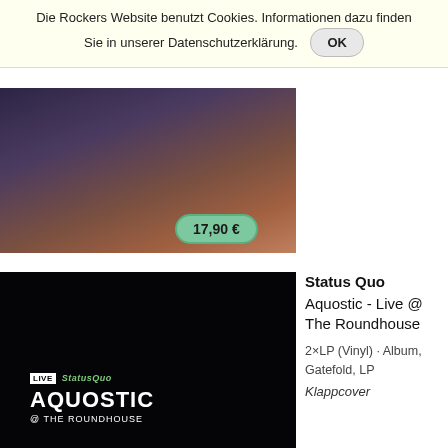Die Rockers Website benutzt Cookies. Informationen dazu finden Sie in unserer Datenschutzerklärung. OK
[Figure (photo): Partial product image showing hands on a dark purple/warm background, with a green price badge showing 17,90 €]
[Figure (photo): Album cover for Status Quo 'Aquostic - Live @ The Roundhouse' with black background and white/green text showing LIVE AQUOSTIC @ THE ROUNDHOUSE]
Status Quo
Aquostic - Live @ The Roundhouse
2×LP (Vinyl) · Album, Gatefold, LP
Klappcover